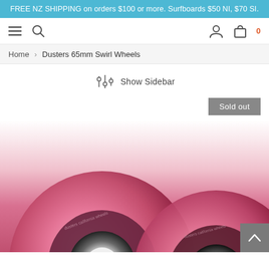FREE NZ SHIPPING on orders $100 or more. Surfboards $50 NI, $70 SI.
[Figure (screenshot): Website navigation bar with hamburger menu, search icon, user icon, and shopping bag icon with 0 count]
Home > Dusters 65mm Swirl Wheels
Show Sidebar
Sold out
[Figure (photo): Two pink translucent Dusters 65mm Swirl skateboard wheels side by side, showing Dusters California Wheels branding, with black hubs and white centers]